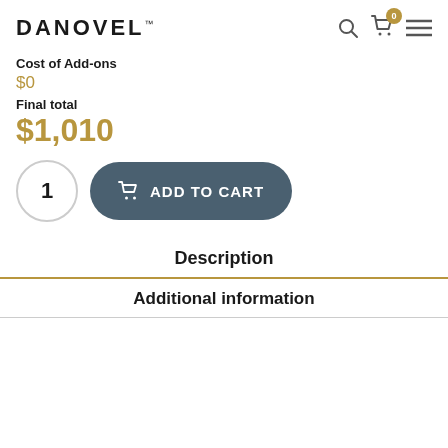DANOVEL™
Cost of Add-ons
$0
Final total
$1,010
1  ADD TO CART
Description
Additional information